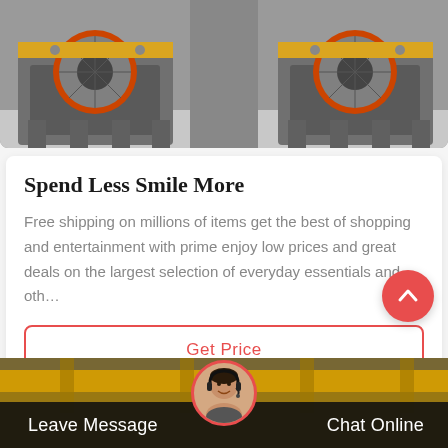[Figure (photo): Industrial machinery with large orange-rimmed wheels/flywheels on grey metal frames in a factory setting]
Spend Less Smile More
Free shipping on millions of items get the best of shopping and entertainment with prime enjoy low prices and great deals on the largest selection of everyday essentials and oth…
Get Price
[Figure (photo): Industrial warehouse interior with yellow overhead crane structure, dark overlay with Leave Message and Chat Online buttons and a customer service avatar]